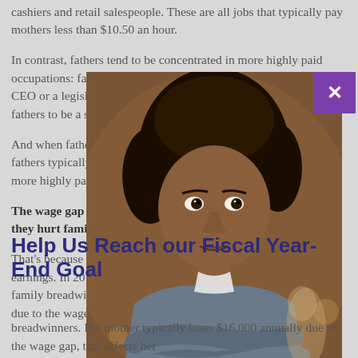cashiers and retail salespeople. These are all jobs that typically pay mothers less than $10.50 an hour. In contrast, fathers tend to be concentrated in more highly paid occupations: fathers are 3.5 times more likely than mothers to be a CEO or a legislator, while mothers are 5.6 times more likely than fathers to be a server.
And when fathers and mothers work in the same occupation, fathers typically are still paid more. Even when mothers work in more highly paid occupations, fathers typically are paid more.
The wage gap and low wages don't just shortchange mothers; they hurt families too.
That's because families are increasingly relying on women's earnings. In 2015, 42 percent of mothers were the sole or primary family breadwinners. If a mother typically loses $16,000 annually due to the wage gap, that affects her
[Figure (photo): Photo of a young Black woman with curly hair, arms crossed, looking directly at camera, in a restaurant or cafe setting with blurred background]
Help Us Reach our Fiscal Year-End Goal